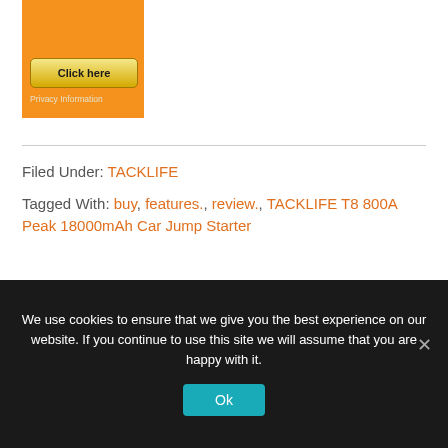[Figure (other): Orange advertisement box with a 'Click here' button and 'Privacy Information' text below it]
Filed Under: TACKLIFE
Tagged With: buy, features., review., TACKLIFE T8 800A Peak 18000mAh Car Jump Starter
We use cookies to ensure that we give you the best experience on our website. If you continue to use this site we will assume that you are happy with it.